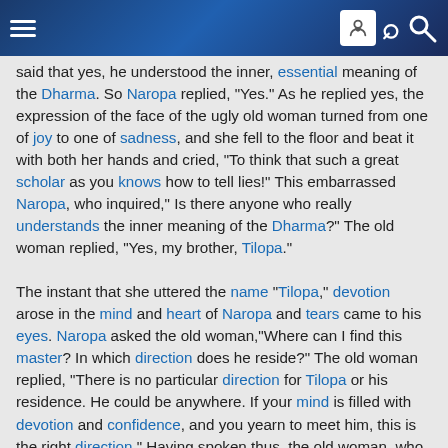[Navigation header with hamburger menu, face icon, and search icon]
said that yes, he understood the inner, essential meaning of the Dharma. So Naropa replied, "Yes." As he replied yes, the expression of the face of the ugly old woman turned from one of joy to one of sadness, and she fell to the floor and beat it with both her hands and cried, "To think that such a great scholar as you knows how to tell lies!" This embarrassed Naropa, who inquired," Is there anyone who really understands the inner meaning of the Dharma?" The old woman replied, "Yes, my brother, Tilopa."

The instant that she uttered the name "Tilopa," devotion arose in the mind and heart of Naropa and tears came to his eyes. Naropa asked the old woman,"Where can I find this master? In which direction does he reside?" The old woman replied, "There is no particular direction for Tilopa or his residence. He could be anywhere. If your mind is filled with devotion and confidence, and you yearn to meet him, this is the right direction." Having spoken thus, the old woman, who was actually Vajrayogini, disappeared like a rainbow fading in the sky. Because his negative karma was not completely purified, Naropa was only able to see her as a very ugly, old woman. His mental stains prevented him from seeing her